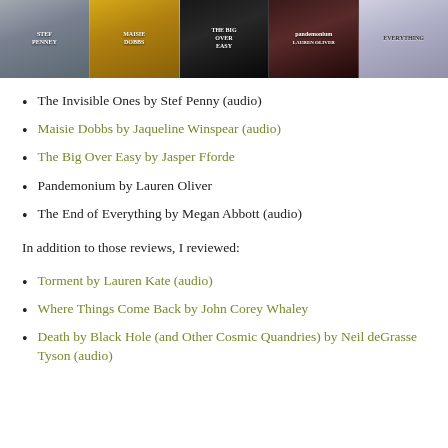[Figure (illustration): Strip of five book covers: The Invisible Ones by Stef Penney, Maisie Dobbs by Jaqueline Winspear, The Big Over Easy by Jasper Fforde, Pandemonium by Lauren Oliver, The End of Everything by Megan Abbott]
The Invisible Ones by Stef Penny (audio)
Maisie Dobbs by Jaqueline Winspear (audio)
The Big Over Easy by Jasper Fforde
Pandemonium by Lauren Oliver
The End of Everything by Megan Abbott (audio)
In addition to those reviews, I reviewed:
Torment by Lauren Kate (audio)
Where Things Come Back by John Corey Whaley
Death by Black Hole (and Other Cosmic Quandries) by Neil deGrasse Tyson (audio)